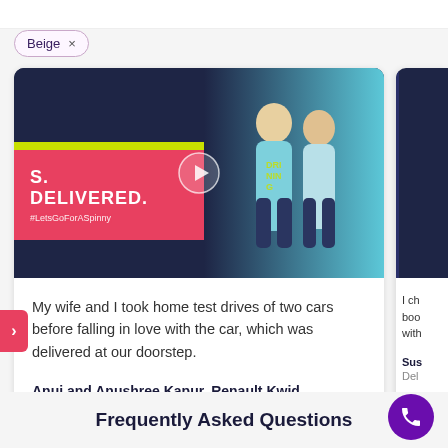Beige ×
[Figure (photo): Photo of two people standing next to a Spinny-branded bus/vehicle. The bus has a red banner reading 'S. DELIVERED. #LetsGoForASpinny' with the Spinny diamond logo. A play button overlay is visible on the image.]
My wife and I took home test drives of two cars before falling in love with the car, which was delivered at our doorstep.
Anuj and Anushree Kapur, Renault Kwid
Gurgaon
I ch... boo... with...
Sus...
Del...
Frequently Asked Questions